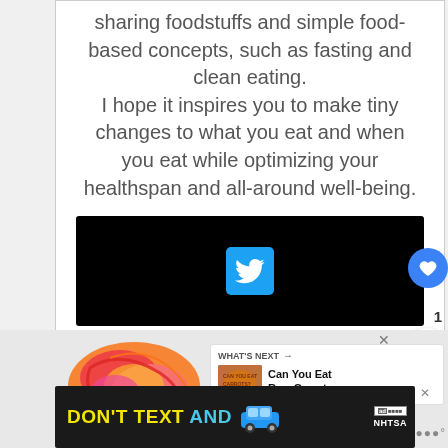sharing foodstuffs and simple food-based concepts, such as fasting and clean eating. I hope it inspires you to make tiny changes to what you eat and when you eat while optimizing your healthspan and all-around well-being.
[Figure (screenshot): Twitter/social media embed bar — black background with blue Twitter bird icon in center]
[Figure (illustration): Decorative colorful food illustration with red, pink, and orange swirling shapes]
[Figure (screenshot): What's Next panel showing thumbnail and text: Can You Eat Raw Carrots...]
[Figure (screenshot): Ad banner: DON'T TEXT AND [car image] with NHTSA logo on dark background]